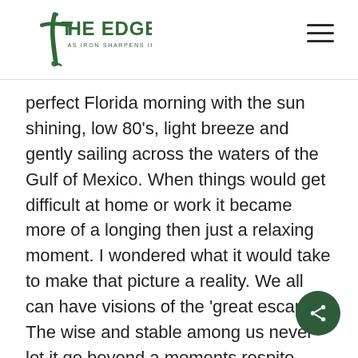THE EDGE — AS IRON SHARPENS IRON
perfect Florida morning with the sun shining, low 80's, light breeze and gently sailing across the waters of the Gulf of Mexico. When things would get difficult at home or work it became more of a longing then just a relaxing moment. I wondered what it would take to make that picture a reality. We all can have visions of the 'great escape'. The wise and stable among us never let it go beyond a moments respite.  Respit is defined as, "a delay or cessation for a time, especially of anything distressing